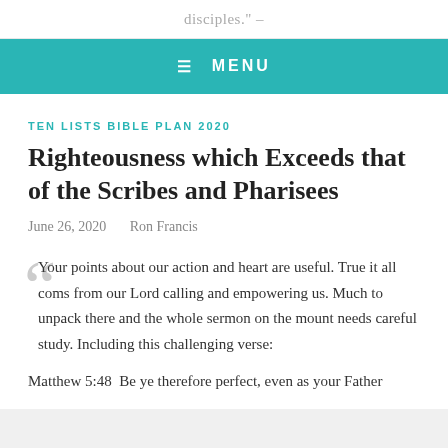disciples." –
MENU
TEN LISTS BIBLE PLAN 2020
Righteousness which Exceeds that of the Scribes and Pharisees
June 26, 2020   Ron Francis
Your points about our action and heart are useful. True it all coms from our Lord calling and empowering us. Much to unpack there and the whole sermon on the mount needs careful study. Including this challenging verse:
Matthew 5:48  Be ye therefore perfect, even as your Father